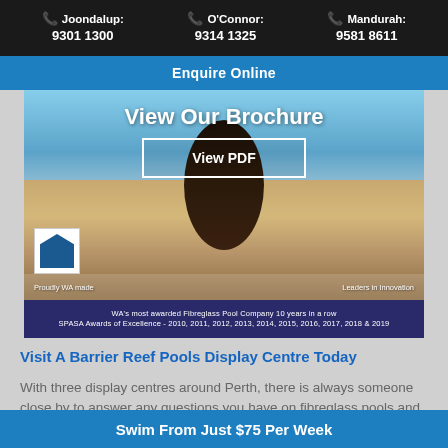Joondalup: 9301 1300  |  O'Connor: 9314 1325  |  Mandurah: 9581 8611
Enquire Online
[Figure (photo): Brochure promotional image showing a person in a pool with text 'View Our Brochure' and a 'View PDF' button, along with 'Proudly WA made' and 'Leaders in Innovation' text, plus SPASA Awards information]
Visit A Barrier Reef Pools Display Centre Today
With three display centres around Perth, there is always someone close by to answer any questions you have on fibreglass pools and to showcase our extensive range
Swim From Just $75 Per Week